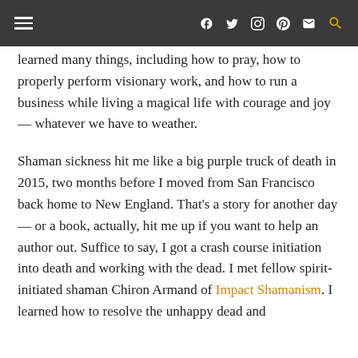≡  f  t  ○  𝙥  ✉  🔍
learned many things, including how to pray, how to properly perform visionary work, and how to run a business while living a magical life with courage and joy — whatever we have to weather.
Shaman sickness hit me like a big purple truck of death in 2015, two months before I moved from San Francisco back home to New England. That's a story for another day — or a book, actually, hit me up if you want to help an author out. Suffice to say, I got a crash course initiation into death and working with the dead. I met fellow spirit-initiated shaman Chiron Armand of Impact Shamanism. I learned how to resolve the unhappy dead and